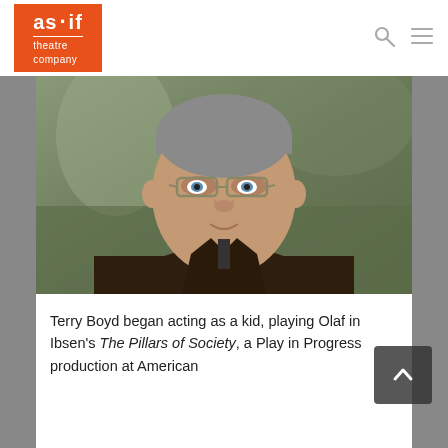as·if theatre company
[Figure (photo): Headshot of Terry Boyd, a middle-aged man with short grey hair, glasses, and blue eyes, wearing a dark jacket, photographed outdoors.]
Terry Boyd began acting as a kid, playing Olaf in Ibsen's The Pillars of Society, a Play in Progress production at American